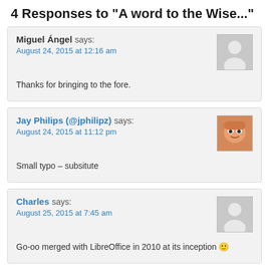4 Responses to "A word to the Wise..."
Miguel Ángel says:
August 24, 2015 at 12:16 am

Thanks for bringing to the fore.
Jay Philips (@jphilipz) says:
August 24, 2015 at 11:12 pm

Small typo – subsitute
Charles says:
August 25, 2015 at 7:45 am

Go-oo merged with LibreOffice in 2010 at its inception 🙂